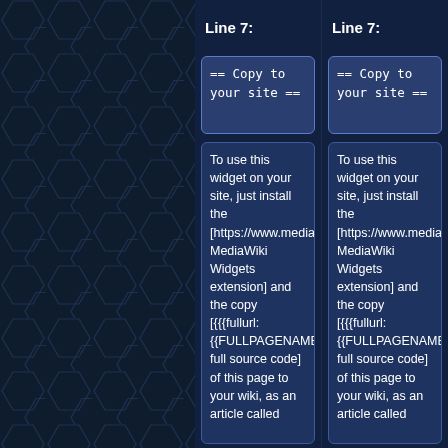Line 7:
Line 7:
== Copy to your site ==
== Copy to your site ==
To use this widget on your site, just install the [https://www.mediawiki.org/wiki/Extension:Widgets MediaWiki Widgets extension] and the copy [{{{fullurl:{{FULLPAGENAME}}|action=edit}} full source code] of this page to your wiki, as an article called
To use this widget on your site, just install the [https://www.mediawiki.org/wiki/Extension:Widgets MediaWiki Widgets extension] and the copy [{{{fullurl:{{FULLPAGENAME}}|action=edit}} full source code] of this page to your wiki, as an article called